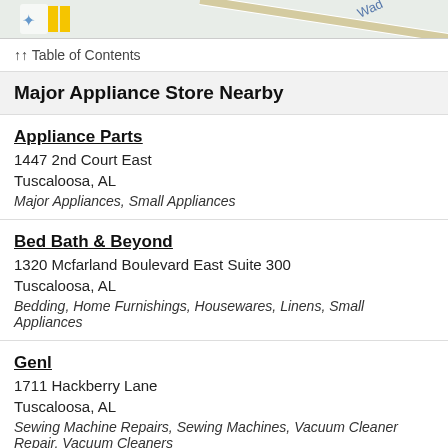[Figure (map): Partial map view showing street names including 'Wad...' text visible at top right, with map icons/markers on the left side]
↑↑ Table of Contents
Major Appliance Store Nearby
Appliance Parts
1447 2nd Court East
Tuscaloosa, AL
Major Appliances, Small Appliances
Bed Bath & Beyond
1320 Mcfarland Boulevard East Suite 300
Tuscaloosa, AL
Bedding, Home Furnishings, Housewares, Linens, Small Appliances
Genl
1711 Hackberry Lane
Tuscaloosa, AL
Sewing Machine Repairs, Sewing Machines, Vacuum Cleaner Repair, Vacuum Cleaners